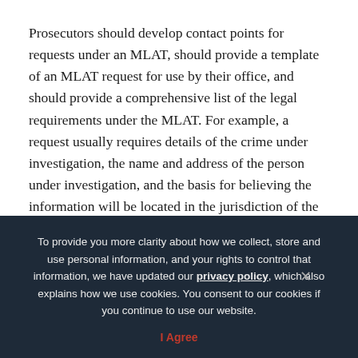Prosecutors should develop contact points for requests under an MLAT, should provide a template of an MLAT request for use by their office, and should provide a comprehensive list of the legal requirements under the MLAT. For example, a request usually requires details of the crime under investigation, the name and address of the person under investigation, and the basis for believing the information will be located in the jurisdiction of the receiving state.
Prosecutors also should determine whether the
To provide you more clarity about how we collect, store and use personal information, and your rights to control that information, we have updated our privacy policy, which also explains how we use cookies. You consent to our cookies if you continue to use our website.
I Agree